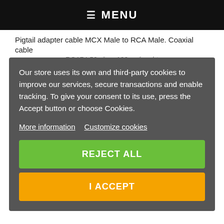≡ MENU
Pigtail adapter cable MCX Male to RCA Male. Coaxial cable
RG174 50 ohms120cm lenght
Our store uses its own and third-party cookies to improve our services, secure transactions and enable tracking. To give your consent to its use, press the Accept button or choose Cookies.
More information
Customize cookies
REJECT ALL
I ACCEPT